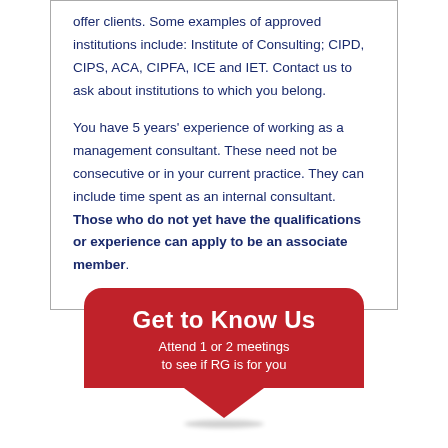offer clients. Some examples of approved institutions include: Institute of Consulting; CIPD, CIPS, ACA, CIPFA, ICE and IET. Contact us to ask about institutions to which you belong.

You have 5 years' experience of working as a management consultant. These need not be consecutive or in your current practice. They can include time spent as an internal consultant. Those who do not yet have the qualifications or experience can apply to be an associate member.
[Figure (infographic): Red rounded badge shape with downward pointing arrow/chevron at bottom. Contains bold white text 'Get to Know Us' and subtitle 'Attend 1 or 2 meetings to see if RG is for you']